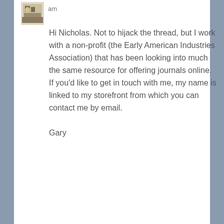am
Hi Nicholas. Not to hijack the thread, but I work with a non-profit (the Early American Industries Association) that has been looking into much the same resource for offering journals online. If you'd like to get in touch with me, my name is linked to my storefront from which you can contact me by email.

Gary
sam j. haim on October 23, 2013 at 5:03 pm
Wow! Great 411. My ebook is in post-production. I got this lady making the cover who has produced over 8,000 ebook covers. I was crying in my soup as I read the Amazon contract for my ebook. $0.15 to download my